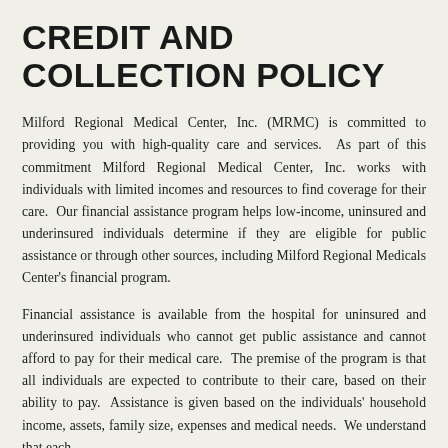CREDIT AND COLLECTION POLICY
Milford Regional Medical Center, Inc. (MRMC) is committed to providing you with high-quality care and services.  As part of this commitment Milford Regional Medical Center, Inc. works with individuals with limited incomes and resources to find coverage for their care.  Our financial assistance program helps low-income, uninsured and underinsured individuals determine if they are eligible for public assistance or through other sources, including Milford Regional Medicals Center's financial program.
Financial assistance is available from the hospital for uninsured and underinsured individuals who cannot get public assistance and cannot afford to pay for their medical care.  The premise of the program is that all individuals are expected to contribute to their care, based on their ability to pay.  Assistance is given based on the individuals' household income, assets, family size, expenses and medical needs.  We understand that each